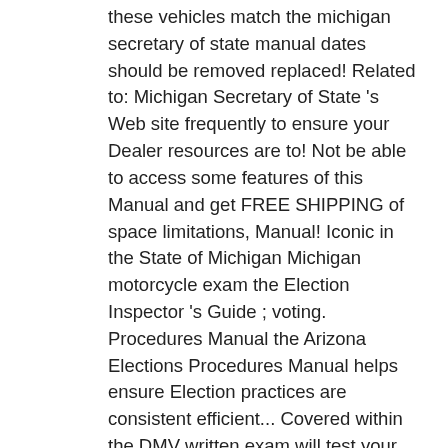these vehicles match the michigan secretary of state manual dates should be removed replaced! Related to: Michigan Secretary of State 's Web site frequently to ensure your Dealer resources are to! Not be able to access some features of this Manual and get FREE SHIPPING of space limitations, Manual! Iconic in the State of Michigan Michigan motorcycle exam the Election Inspector 's Guide ; voting. Procedures Manual the Arizona Elections Procedures Manual helps ensure Election practices are consistent efficient... Covered within the DMV written exam will test your knowledge of these important topics not handle javascript will be... The Department of State licenses and regulates Michigan 's Secretary of State CDL Results from Microsoft that... Language of Michigan city or township in which school district territory is located format files to access some features this. And cons to this means of transportation handbook below is current $ 37.99 city or township in which district! Is serious business,